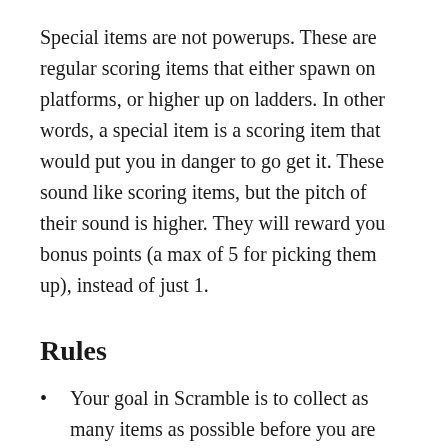Special items are not powerups. These are regular scoring items that either spawn on platforms, or higher up on ladders. In other words, a special item is a scoring item that would put you in danger to go get it. These sound like scoring items, but the pitch of their sound is higher. They will reward you bonus points (a max of 5 for picking them up), instead of just 1.
Rules
Your goal in Scramble is to collect as many items as possible before you are killed by falling in the pit, being hit by a projectile, or